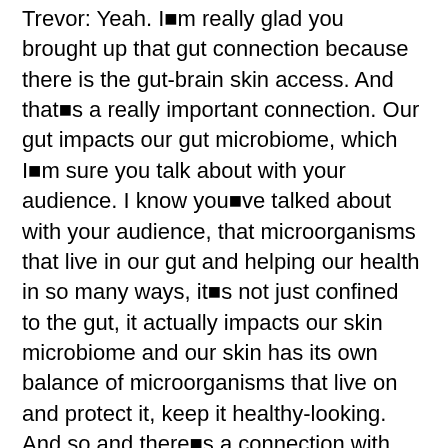Trevor: Yeah. I■m really glad you brought up that gut connection because there is the gut-brain skin access. And that■s a really important connection. Our gut impacts our gut microbiome, which I■m sure you talk about with your audience. I know you■ve talked about with your audience, that microorganisms that live in our gut and helping our health in so many ways, it■s not just confined to the gut, it actually impacts our skin microbiome and our skin has its own balance of microorganisms that live on and protect it, keep it healthy-looking. And so and there■s a connection with the brain in there, too, which is part of what brings the hormones into it. Because when the gut is impacting the brain that impacts our neurochemistry and the signals that our body gets to produce for endocrine glands to produce our hormones. And so when our gut is off and impacts our hormones, and also impacts our skin. And so it■s really important to realize that so that when we are looking at skin issues, we want to address gut health. That■s a big part of